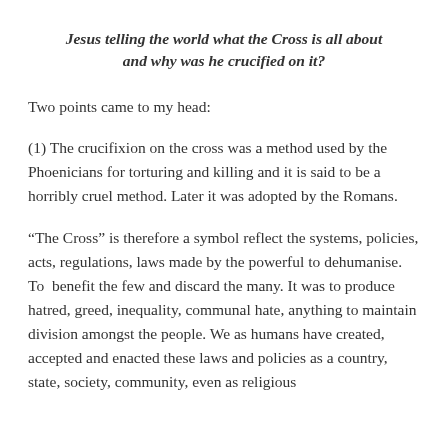Jesus telling the world what the Cross is all about and why was he crucified on it?
Two points came to my head:
(1) The crucifixion on the cross was a method used by the Phoenicians for torturing and killing and it is said to be a horribly cruel method. Later it was adopted by the Romans.
“The Cross” is therefore a symbol reflect the systems, policies, acts, regulations, laws made by the powerful to dehumanise. To  benefit the few and discard the many. It was to produce hatred, greed, inequality, communal hate, anything to maintain division amongst the people. We as humans have created, accepted and enacted these laws and policies as a country, state, society, community, even as religious